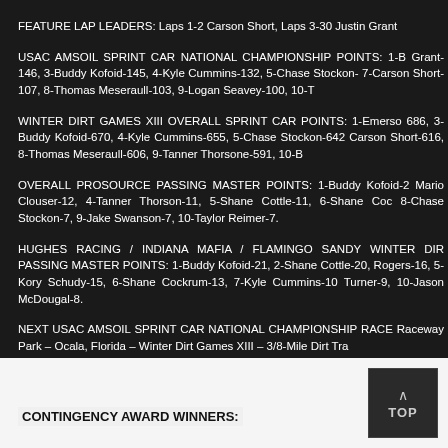FEATURE LAP LEADERS: Laps 1-2 Carson Short, Laps 3-30 Justin Grant
USAC AMSOIL SPRINT CAR NATIONAL CHAMPIONSHIP POINTS: 1-B Grant-146, 3-Buddy Kofoid-145, 4-Kyle Cummins-132, 5-Chase Stockon- 7-Carson Short-107, 8-Thomas Meseraull-103, 9-Logan Seavey-100, 10-T
WINTER DIRT GAMES XIII OVERALL SPRINT CAR POINTS: 1-Emerso 686, 3-Buddy Kofoid-670, 4-Kyle Cummins-655, 5-Chase Stockon-642 Carson Short-616, 8-Thomas Meseraull-606, 9-Tanner Thorsone-591, 10-B
OVERALL PROSOURCE PASSING MASTER POINTS: 1-Buddy Kofoid-2 Mario Clouser-12, 4-Tanner Thorson-11, 5-Shane Cottle-11, 6-Shane Coc 8-Chase Stockon-7, 9-Jake Swanson-7, 10-Taylor Reimer-7.
HUGHES RACING / INDIANA MAFIA / FLAMINGO SANDY WINTER DIR PASSING MASTER POINTS: 1-Buddy Kofoid-21, 2-Shane Cottle-20, Rogers-16, 5-Kory Schudy-15, 6-Shane Cockrum-13, 7-Kyle Cummins-10 Turner-9, 10-Jason McDougal-8.
NEXT USAC AMSOIL SPRINT CAR NATIONAL CHAMPIONSHIP RACE Raceway Park – Ocala, Florida – Winter Dirt Games XIII – 3/8-Mile Dirt Tra
CONTINGENCY AWARD WINNERS: